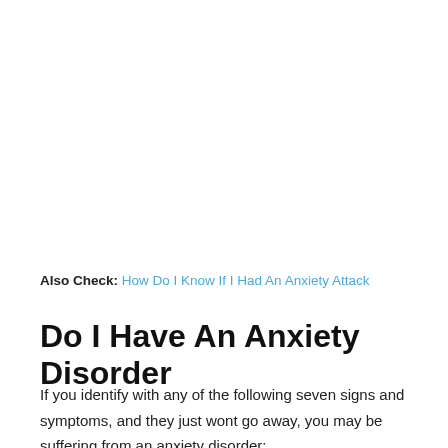Also Check: How Do I Know If I Had An Anxiety Attack
Do I Have An Anxiety Disorder
If you identify with any of the following seven signs and symptoms, and they just wont go away, you may be suffering from an anxiety disorder: